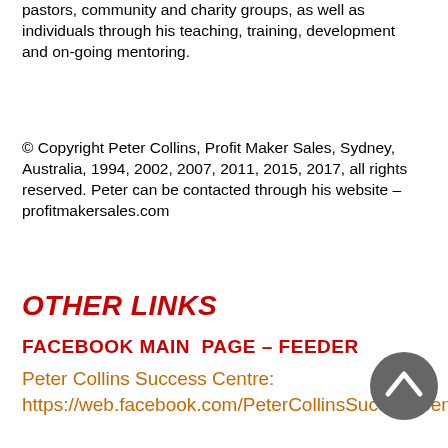pastors, community and charity groups, as well as individuals through his teaching, training, development and on-going mentoring.
© Copyright Peter Collins, Profit Maker Sales, Sydney, Australia, 1994, 2002, 2007, 2011, 2015, 2017, all rights reserved. Peter can be contacted through his website – profitmakersales.com
OTHER LINKS
FACEBOOK MAIN PAGE – FEEDER
Peter Collins Success Centre: https://web.facebook.com/PeterCollinsSuccessCentre